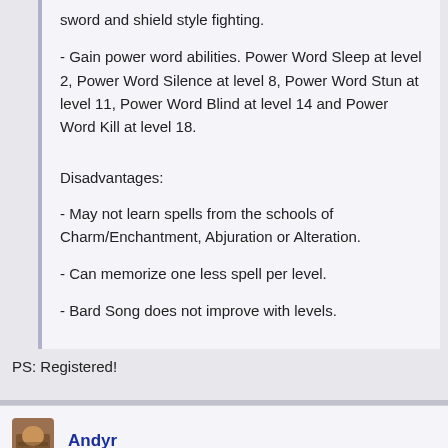sword and shield style fighting.
- Gain power word abilities. Power Word Sleep at level 2, Power Word Silence at level 8, Power Word Stun at level 11, Power Word Blind at level 14 and Power Word Kill at level 18.
Disadvantages:
- May not learn spells from the schools of Charm/Enchantment, Abjuration or Alteration.
- Can memorize one less spell per level.
- Bard Song does not improve with levels.
PS: Registered!
Andyr